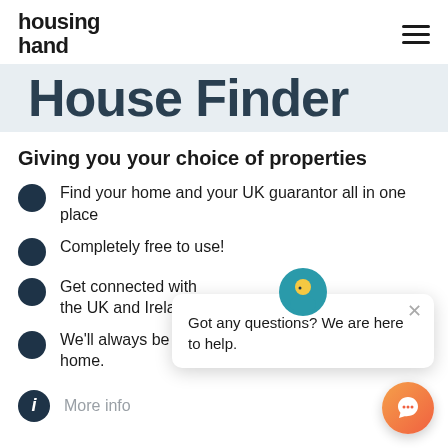housing hand
House Finder
Giving you your choice of properties
Find your home and your UK guarantor all in one place
Completely free to use!
Get connected with the UK and Ireland
We'll always be here to help you find your next home.
Got any questions? We are here to help.
More info